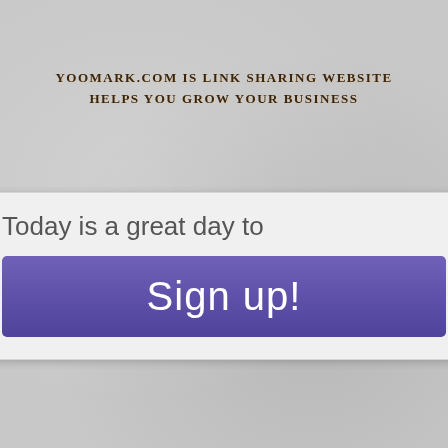YOOMARK.COM IS LINK SHARING WEBSITE HELPS YOU GROW YOUR BUSINESS
Today is a great day to
Sign up!
View
Contact
[Figure (logo): Power/on button icon in white on a blue background square]